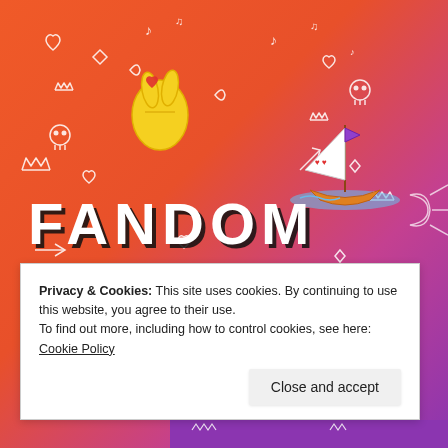[Figure (illustration): Fandom on Tumblr promotional banner image with orange-to-purple gradient background, white doodle icons (crowns, hearts, arrows, music notes, skulls, diamonds, leaves, squiggles), sticker illustrations of a hand doing a finger heart, a sailboat, and a ladybug. Large bold text reads FANDOM ON tumblr with black shadow/offset effect.]
Privacy & Cookies: This site uses cookies. By continuing to use this website, you agree to their use.
To find out more, including how to control cookies, see here: Cookie Policy
Close and accept